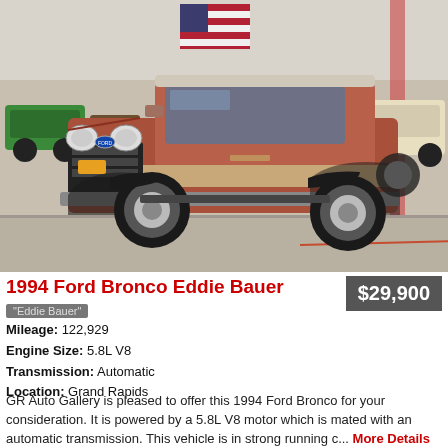[Figure (photo): 1994 Ford Bronco Eddie Bauer in reddish-brown two-tone color photographed in an indoor car showroom/warehouse with other classic cars visible in the background and an American flag hanging on the wall.]
1994 Ford Bronco Eddie Bauer
$29,900
"Eddie Bauer"
Mileage: 122,929
Engine Size: 5.8L V8
Transmission: Automatic
Location: Grand Rapids
GR Auto Gallery is pleased to offer this 1994 Ford Bronco for your consideration. It is powered by a 5.8L V8 motor which is mated with an automatic transmission. This vehicle is in strong running c... More Details